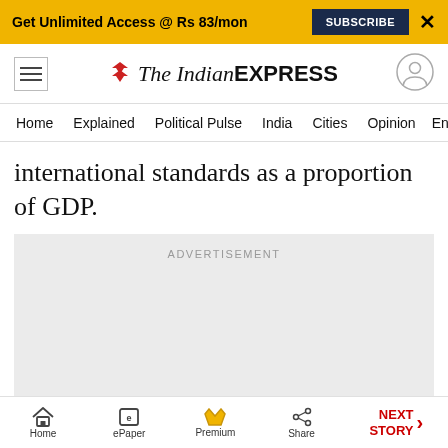Get Unlimited Access @ Rs 83/mon  SUBSCRIBE  X
The Indian EXPRESS
Home  Explained  Political Pulse  India  Cities  Opinion  Entertainment
international standards as a proportion of GDP.
[Figure (other): Advertisement placeholder area (grey background)]
Home  ePaper  Premium  Share  NEXT STORY